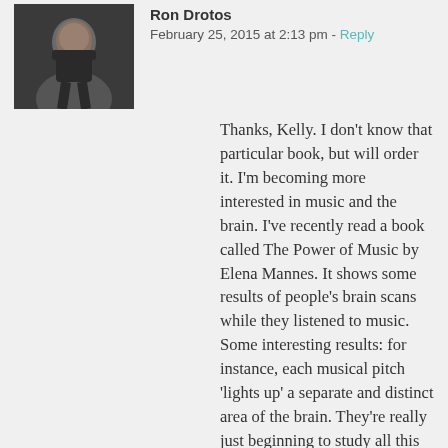Ron Drotos · February 25, 2015 at 2:13 pm · Reply
[Figure (photo): Avatar photo of Ron Drotos, a man in a dark shirt]
Thanks, Kelly. I don't know that particular book, but will order it. I'm becoming more interested in music and the brain. I've recently read a book called The Power of Music by Elena Mannes. It shows some results of people's brain scans while they listened to music. Some interesting results: for instance, each musical pitch 'lights up' a separate and distinct area of the brain. They're really just beginning to study all this